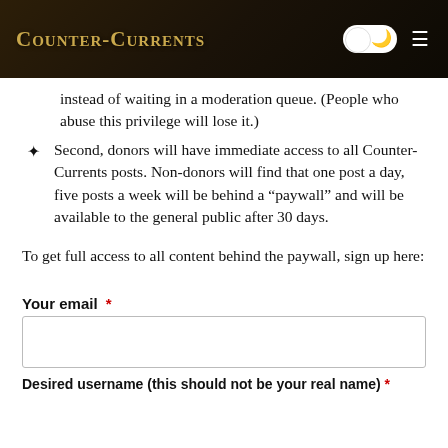Counter-Currents
instead of waiting in a moderation queue. (People who abuse this privilege will lose it.)
Second, donors will have immediate access to all Counter-Currents posts. Non-donors will find that one post a day, five posts a week will be behind a “paywall” and will be available to the general public after 30 days.
To get full access to all content behind the paywall, sign up here:
Your email *
Desired username (this should not be your real name) *